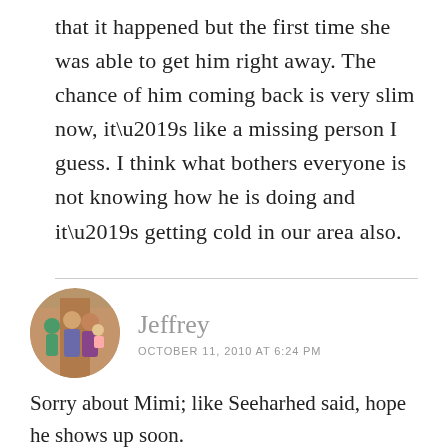that it happened but the first time she was able to get him right away. The chance of him coming back is very slim now, it’s like a missing person I guess. I think what bothers everyone is not knowing how he is doing and it’s getting cold in our area also.
Jeffrey
OCTOBER 11, 2010 AT 6:24 PM
Sorry about Mimi; like Seeharhed said, hope he shows up soon.